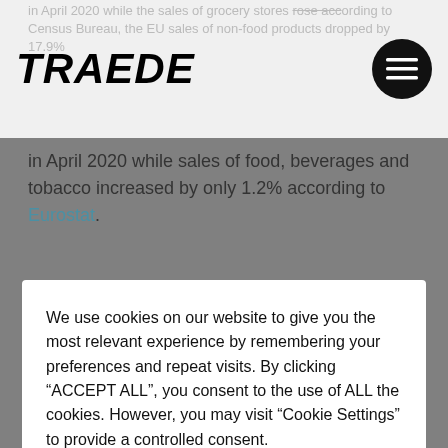TRAEDE
in April 2020 while sales of food, beverages and tobacco increased by only 1.2% according to Eurostat.
We use cookies on our website to give you the most relevant experience by remembering your preferences and repeat visits. By clicking “ACCEPT ALL”, you consent to the use of ALL the cookies. However, you may visit "Cookie Settings" to provide a controlled consent.
In terms of the fashion production in Bangladesh alone, orders have been cancelled by western fashion brand for over $2.8 billion dollars and at least 1.2 million workers in Bangladesh are directly impacted by the order cancellations and all the factories and suppliers who have lost their contracts